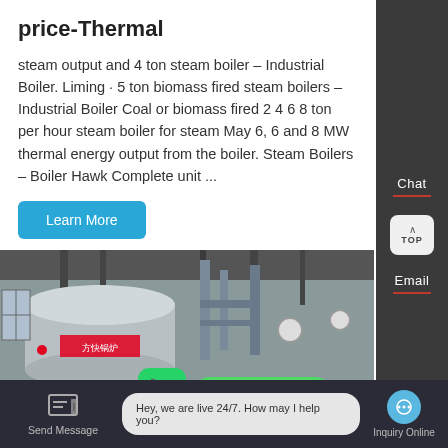price-Thermal
steam output and 4 ton steam boiler – Industrial Boiler. Liming · 5 ton biomass fired steam boilers – Industrial Boiler Coal or biomass fired 2 4 6 8 ton per hour steam boiler for steam May 6, 6 and 8 MW thermal energy output from the boiler. Steam Boilers – Boiler Hawk Complete unit ...
Learn More
[Figure (photo): Industrial boiler equipment in a factory setting showing large cylindrical boiler tanks and piping, with Chinese text on the boiler.]
Contact us now!
Chat
TOP
Email
Send Message
Hey, we are live 24/7. How may I help you?
Inquiry Online